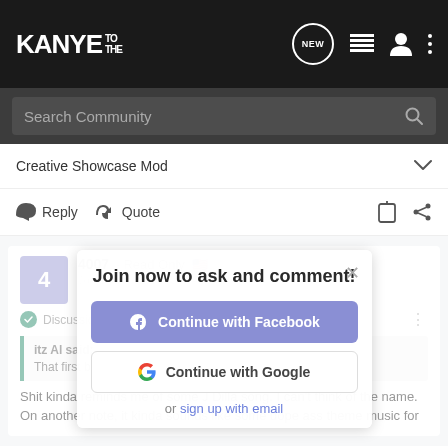KANYE TO THE — NEW — navigation icons
Search Community
Creative Showcase Mod
Reply  Quote
4007 · Read Only 🇺🇸
Joined Oct 31, 2010 · 14,249 Posts
Discussion Starter · #18 · Aug 9, 2011
itz Al said:
That first beat>>>>>>>>>>>>>>>>>>>>
Shit kinda reminds me of some J Dilla song. I can't think of the name.
On another note, it kinda sounds like some dope ass theme music for
Join now to ask and comment!
Continue with Facebook
Continue with Google
or sign up with email